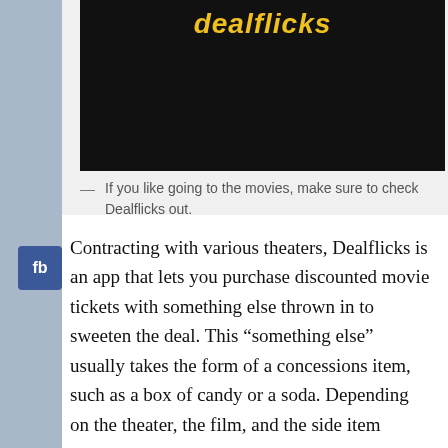[Figure (screenshot): Dark black background image with 'dealflicks' text in yellow/gold italic bold font at the top]
— If you like going to the movies, make sure to check Dealflicks out.
Contracting with various theaters, Dealflicks is an app that lets you purchase discounted movie tickets with something else thrown in to sweeten the deal. This “something else” usually takes the form of a concessions item, such as a box of candy or a soda. Depending on the theater, the film, and the side item offered, Dealflicks will...